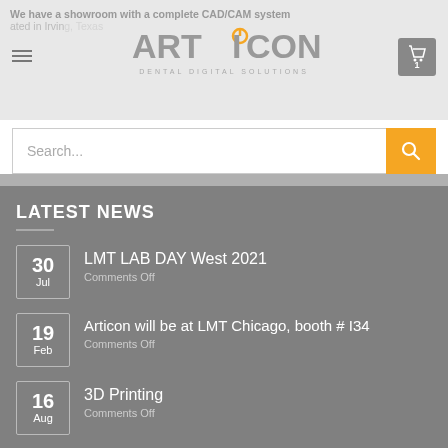We have a showroom with a complete CAD/CAM system located in Irving, Texas
[Figure (logo): Articon Dental Digital Solutions logo with orange power button icon]
Search...
LATEST NEWS
30 Jul — LMT LAB DAY West 2021 — Comments Off
19 Feb — Articon will be at LMT Chicago, booth # I34 — Comments Off
16 Aug — 3D Printing — Comments Off
20 May — MillBox Advanced Training May 23-24 — Comments Off